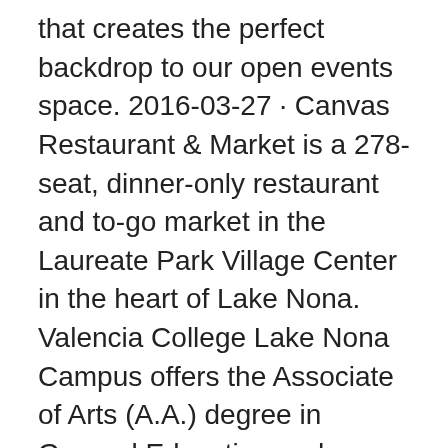that creates the perfect backdrop to our open events space. 2016-03-27 · Canvas Restaurant & Market is a 278-seat, dinner-only restaurant and to-go market in the Laureate Park Village Center in the heart of Lake Nona. Valencia College Lake Nona Campus offers the Associate of Arts (A.A.) degree in General Education and Associate in Science (A.S.) degree in Biotechnology Laboratory Sciences. Facilities include 18 classrooms, 2 computer labs, 6 science labs and learning support services (including tutoring, assessment services, and computer access). Take the Lake Nona Blvd S exit, EXIT 19, toward Medical City 0.46 miles: 0.5 mi: 5. Christopher polhemus
19 Nov 2015 Billed as a dinner-only restaurant and market, Canvas will be at the Laureate Park Village